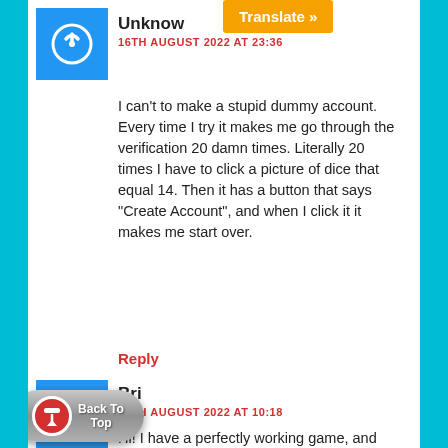Unknown
16TH AUGUST 2022 AT 23:36
[Figure (other): Translate button overlay in orange]
I can’t to make a stupid dummy account. Every time I try it makes me go through the verification 20 damn times. Literally 20 times I have to click a picture of dice that equal 14. Then it has a button that says “Create Account”, and when I click it it makes me start over.
Reply
Bri
12TH AUGUST 2022 AT 10:18
Hi! I have a perfectly working game, and I’ve connected online like I always have done (by following the instructions you have given) but when i go into the gallery, all the items have red
[Figure (other): Back To Top button with red arrow icon]